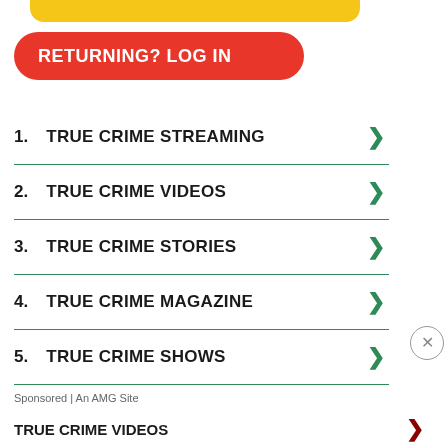[Figure (other): Yellow partial bar at top (partial view of a button or banner)]
[Figure (other): Red rounded button labeled RETURNING? LOG IN]
1.  TRUE CRIME STREAMING
2.  TRUE CRIME VIDEOS
3.  TRUE CRIME STORIES
4.  TRUE CRIME MAGAZINE
5.  TRUE CRIME SHOWS
Sponsored | An AMG Site
TRUE CRIME VIDEOS
Ad | An AMG Site